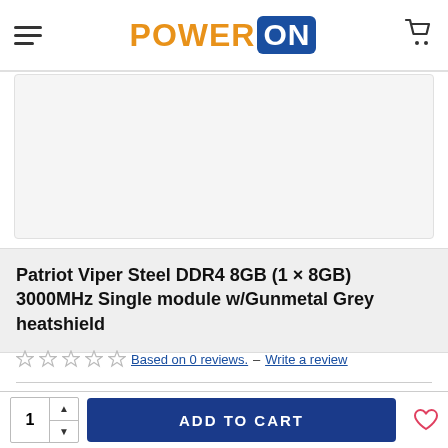POWER ON — navigation header with hamburger menu and cart icon
[Figure (photo): Product image area for Patriot Viper Steel DDR4 8GB RAM module (white/light grey background, product not fully visible)]
Patriot Viper Steel DDR4 8GB (1 × 8GB) 3000MHz Single module w/Gunmetal Grey heatshield
★☆☆☆☆ Based on 0 reviews. – Write a review
Model: SDPAT-PVS48G300C